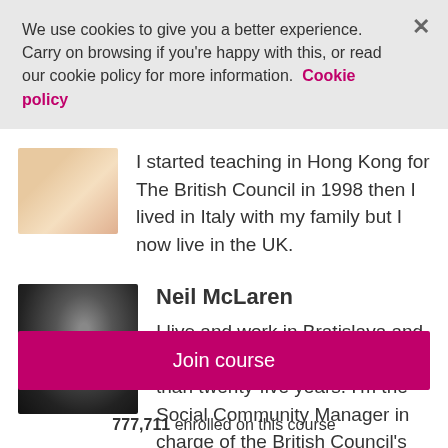We use cookies to give you a better experience. Carry on browsing if you're happy with this, or read our cookie policy for more information. Cookie policy
I started teaching in Hong Kong for The British Council in 1998 then I lived in Italy with my family but I now live in the UK.
Neil McLaren
I live and work in Bratislava and have been teaching for more than twenty-five years. I'm the Social Community Manager in charge of the British Council's global social
Join course
777,711 enrolled on this course